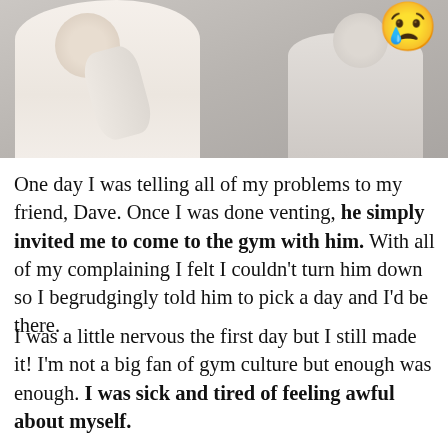[Figure (photo): Photo showing a person in a white t-shirt flexing/lifting (gym context) on the left, and another figure on the right, with a crying face emoji in the top right corner]
One day I was telling all of my problems to my friend, Dave. Once I was done venting, he simply invited me to come to the gym with him. With all of my complaining I felt I couldn't turn him down so I begrudgingly told him to pick a day and I'd be there.
I was a little nervous the first day but I still made it! I'm not a big fan of gym culture but enough was enough. I was sick and tired of feeling awful about myself.